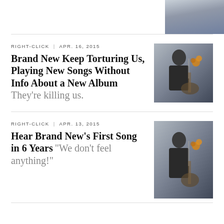[Figure (photo): Partial photo of a person at top right corner]
RIGHT-CLICK | APR. 16, 2015
Brand New Keep Torturing Us, Playing New Songs Without Info About a New Album They're killing us.
[Figure (photo): Photo of a band member singing into a microphone with flowers]
RIGHT-CLICK | APR. 13, 2015
Hear Brand New's First Song in 6 Years "We don't feel anything!"
[Figure (photo): Photo of a band member singing into a microphone with flowers]